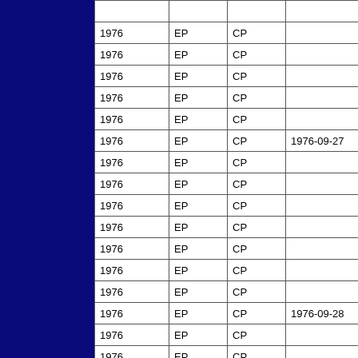|  |  |  |  |
| --- | --- | --- | --- |
| 1976 | EP | CP |  |
| 1976 | EP | CP |  |
| 1976 | EP | CP |  |
| 1976 | EP | CP |  |
| 1976 | EP | CP |  |
| 1976 | EP | CP | 1976-09-27 |
| 1976 | EP | CP |  |
| 1976 | EP | CP |  |
| 1976 | EP | CP |  |
| 1976 | EP | CP |  |
| 1976 | EP | CP |  |
| 1976 | EP | CP |  |
| 1976 | EP | CP |  |
| 1976 | EP | CP | 1976-09-28 |
| 1976 | EP | CP |  |
| 1976 | EP | CP |  |
| 1976 | EP | CP |  |
| 1976 | EP | CP |  |
| 1976 | EP | CP |  |
| 1976 | EP | CP |  |